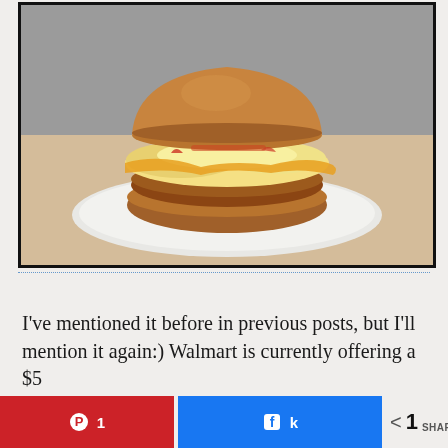[Figure (photo): A breakfast sandwich on a bun with egg, melted cheese, and a sausage patty, served on a white plate on a beige surface.]
I've mentioned it before in previous posts, but I'll mention it again:)  Walmart is currently offering a $5